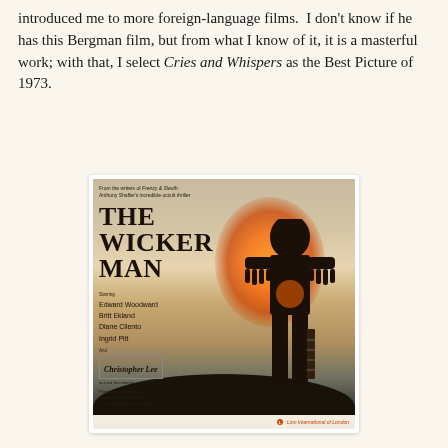introduced me to more foreign-language films.  I don't know if he has this Bergman film, but from what I know of it, it is a masterful work; with that, I select Cries and Whispers as the Best Picture of 1973.
[Figure (photo): Movie poster for 'The Wicker Man' (1973). Shows a large dark silhouette of a wicker man figure standing on a hill with an orange glow/fire behind it. Left side lists cast: Edward Woodward, Britt Ekland, Diane Cilento, Ingrid Pitt, and Christopher Lee as Lord Summerisle. Directed by Robin Hardy. Screenplay by Anthony Shaffer. Produced by Don Boyd. From the writers of Frenzy & Sleuth: Anthony Shaffer's incredible occult thriller. Lion International of London.]